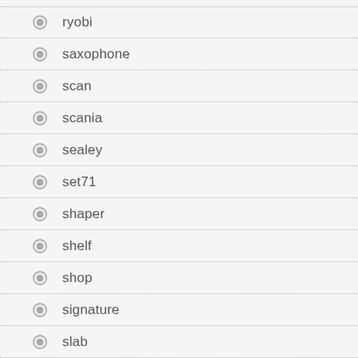ryobi
saxophone
scan
scania
sealey
set71
shaper
shelf
shop
signature
slab